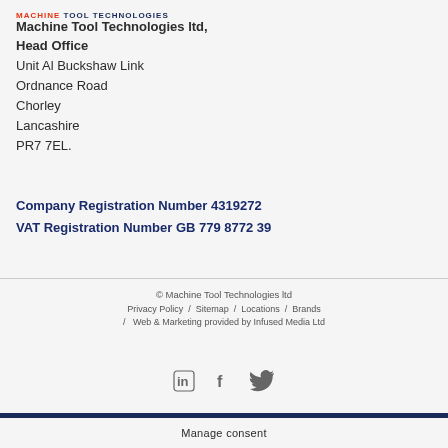MACHINE TOOL TECHNOLOGIES
Machine Tool Technologies ltd,
Head Office
Unit Al Buckshaw Link
Ordnance Road
Chorley
Lancashire
PR7 7EL.
Company Registration Number 4319272
VAT Registration Number GB 779 8772 39
© Machine Tool Technologies ltd
Privacy Policy / Sitemap / Locations / Brands
/ Web & Marketing provided by Infused Media Ltd
Manage consent